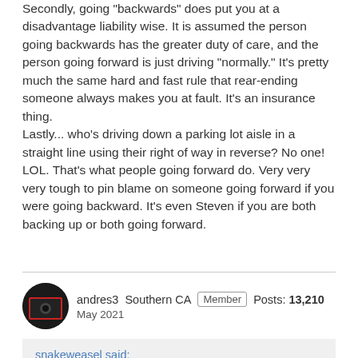Secondly, going "backwards" does put you at a disadvantage liability wise. It is assumed the person going backwards has the greater duty of care, and the person going forward is just driving "normally." It's pretty much the same hard and fast rule that rear-ending someone always makes you at fault. It's an insurance thing.
Lastly... who's driving down a parking lot aisle in a straight line using their right of way in reverse? No one! LOL. That's what people going forward do. Very very very tough to pin blame on someone going forward if you were going backward. It's even Steven if you are both backing up or both going forward.
andres3  Southern CA  Member  Posts: 13,210
May 2021
snakeweasel said:
show previous quotes
Yeah tell that to the person who almost hit me trying to back